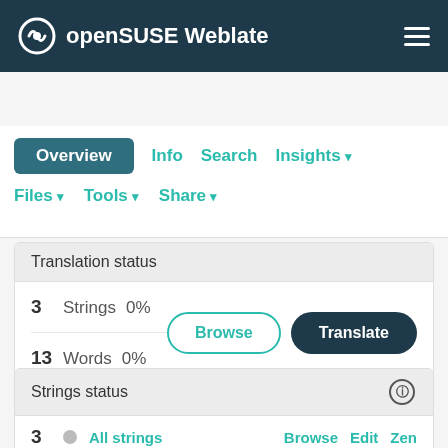openSUSE Weblate
yast-slp / master / Georgian  translated 0%
Overview  Info  Search  Insights  Files  Tools  Share
Translation status
3  Strings  0%
13  Words  0%
Browse  Translate
Strings status
3  All strings  Browse  Edit  Zen
— 13 words